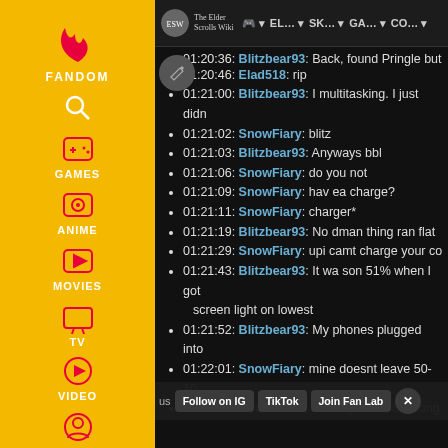[Figure (screenshot): Fandom sidebar navigation with yellow background, showing flame/heart logo, search icon, Games, Anime, Movies, TV, Video, and profile icons with white labels]
[Figure (screenshot): Top navigation bar showing The Elder Scrolls Wiki logo and nav items: AA, EL..., SK..., GA..., CO... with dropdown arrows]
01:20:36: Blitzbear93: Back, found Pringle but
01:20:46: Elad518: rip
01:21:00: Blitzbear93: I multitasking. I just didn
01:21:02: SnowFiary: blitz
01:21:03: Blitzbear93: Anyways bbl
01:21:06: SnowFiary: do you not
01:21:09: SnowFiary: hav ea charge?
01:21:11: SnowFiary: charger*
01:21:19: Blitzbear93: No dman thing ran flat
01:21:29: SnowFiary: upi camt charge your co
01:21:43: Blitzbear93: It wa son 51% when I got screen light on lowest
01:21:52: Blitzbear93: My phones plugged into
01:22:01: SnowFiary: mine doesnt leave 50-10
01:22:04: Blitzbear93: And my cable isn't long
Follow on IG | TikTok | Join Fan Lab | X